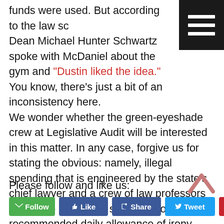funds were used. But according to the law school, Dean Michael Hunter Schwartz spoke with McDaniel about the gym and "Dustin liked the idea." You know, there's just a bit of an inconsistency here.
We wonder whether the green-eyeshade crew at Legislative Audit will be interested in this matter. In any case, forgive us for stating the obvious: namely, illegal spending that is engineered by the state's chief lawyer and a crew of law professors should be enough to satisfy anyone's recommended daily allowance of irony. Why, it's almost as if these legal professionals don't take what is supposed to be their chief area of competence – namely, the law – very seriously.
Please follow and like us: